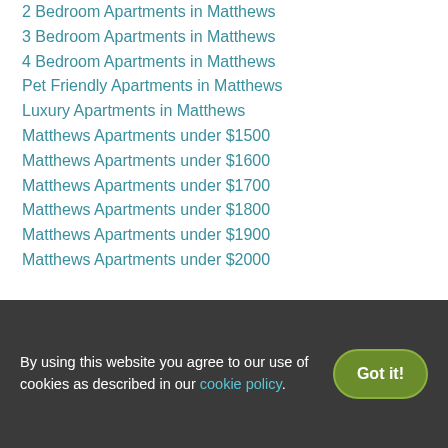2 Bedroom Apartments in Matthews
3 Bedroom Apartments in Matthews
4 Bedroom Apartments in Matthews
Pet Friendly Apartments in Matthews
Luxury Apartments in Matthews
Matthews Apartments under $1500
Matthews Apartments under $1600
Matthews Apartments under $1700
Matthews Apartments under $1800
Matthews Apartments under $1900
Matthews Apartments under $2000
Rent prices in cities near Matthews
Rent prices in Matthews's popular neighborhoods
By using this website you agree to our use of cookies as described in our cookie policy.